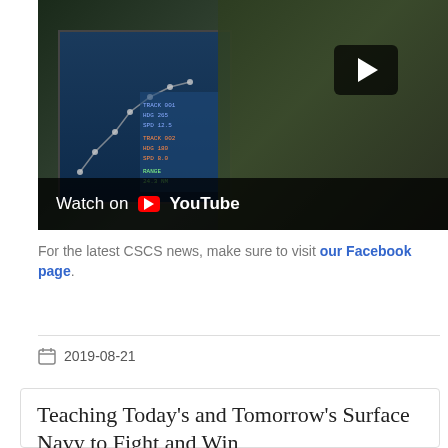[Figure (screenshot): YouTube video thumbnail showing Navy personnel in camouflage uniforms wearing headsets, seated at a tactical operations console with a blue screen displaying a map/tracking interface. A YouTube play button overlay is visible in the upper right area. At the bottom is a 'Watch on YouTube' bar.]
For the latest CSCS news, make sure to visit our Facebook page.
2019-08-21
Teaching Today's and Tomorrow's Surface Navy to Fight and Win